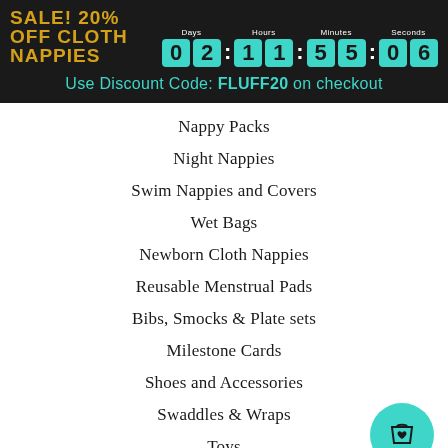SALE! 20% OFF CLOTH NAPPIES — Use Discount Code: FLUFF20 on checkout — Timer: 02:11:55:06
Nappy Packs
Night Nappies
Swim Nappies and Covers
Wet Bags
Newborn Cloth Nappies
Reusable Menstrual Pads
Bibs, Smocks & Plate sets
Milestone Cards
Shoes and Accessories
Swaddles & Wraps
Toys
[Figure (illustration): Teal circular shopping bag button with a heart icon in the bottom right of the page]